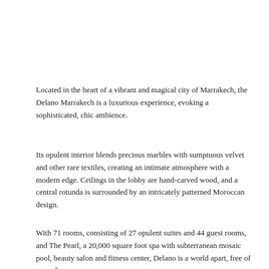Located in the heart of a vibrant and magical city of Marrakech, the Delano Marrakech is a luxurious experience, evoking a sophisticated, chic ambience.
Its opulent interior blends precious marbles with sumptuous velvet and other rare textiles, creating an intimate atmosphere with a modern edge. Ceilings in the lobby are hand-carved wood, and a central rotunda is surrounded by an intricately patterned Moroccan design.
With 71 rooms, consisting of 27 opulent suites and 44 guest rooms, and The Pearl, a 20,000 square foot spa with subterranean mosaic pool, beauty salon and fitness center, Delano is a world apart, free of everyday concerns.
The restaurants at Delano Marrakech serve fresh, surprising flavours for the discerning palate. Bon R offers fine French dining and the restaurant by Giancarlo Morelli features Mediterranean Italian cuisine. Galerie, located in the lobby beneath the soaring rotunda with a retractable roof, serves throughout the day. And, the Sky Lounge provides spectacular 360°